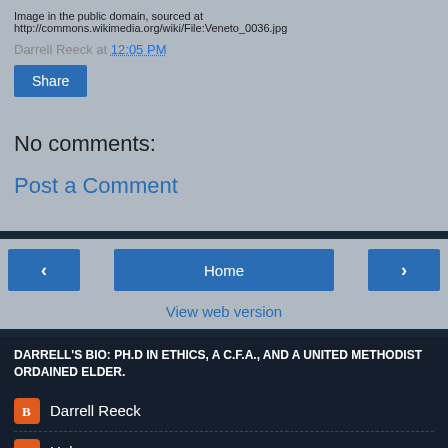Image in the public domain, sourced at http://commons.wikimedia.org/wiki/File:Veneto_0036.jpg
Darrell Reeck at 12:05 PM
Share
No comments:
Post a Comment
‹
Home
›
View web version
DARRELL'S BIO: PH.D IN ETHICS, A C.F.A., AND A UNITED METHODIST ORDAINED ELDER.
Darrell Reeck
Unknown
Powered by Blogger.